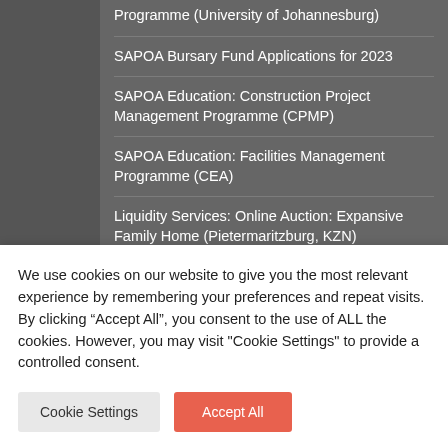Programme (University of Johannesburg)
SAPOA Bursary Fund Applications for 2023
SAPOA Education: Construction Project Management Programme (CPMP)
SAPOA Education: Facilities Management Programme (CEA)
Liquidity Services: Online Auction: Expansive Family Home (Pietermaritzburg, KZN)
Women's Property Network & Investec: SME and Entrepreneurship Development Breakfast
We use cookies on our website to give you the most relevant experience by remembering your preferences and repeat visits. By clicking “Accept All”, you consent to the use of ALL the cookies. However, you may visit "Cookie Settings" to provide a controlled consent.
Cookie Settings
Accept All